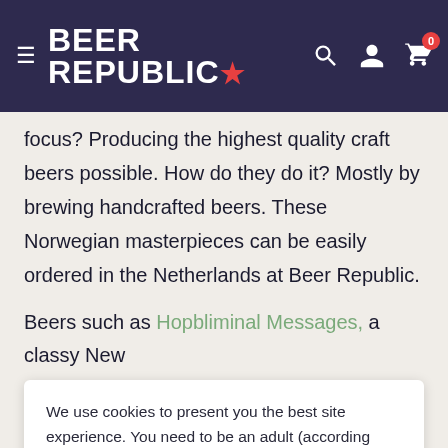Beer Republic
focus? Producing the highest quality craft beers possible. How do they do it? Mostly by brewing handcrafted beers. These Norwegian masterpieces can be easily ordered in the Netherlands at Beer Republic.
Beers such as Hopbliminal Messages, a classy New
We use cookies to present you the best site experience. You need to be an adult (according laws in your country) to use this site and buying products from this site. When you accept you state you are and also give your consent for using ccokies. Now let's get you some craft beer!
Got it!
Discover an unbelievable taste experience.